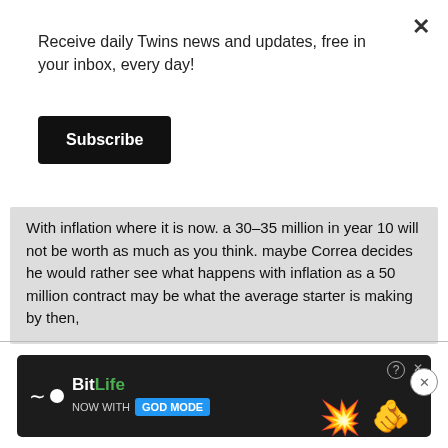Receive daily Twins news and updates, free in your inbox, every day!
Subscribe
With inflation where it is now. a 30-35 million in year 10 will not be worth as much as you think. maybe Correa decides he would rather see what happens with inflation as a 50 million contract may be what the average starter is making by then,
Excellent point!  I remember when Killebrew got his first $100,000 contract.  What a shocking amount.
[Figure (screenshot): BitLife advertisement banner with 'NOW WITH GOD MODE' text and hand pointing graphic]